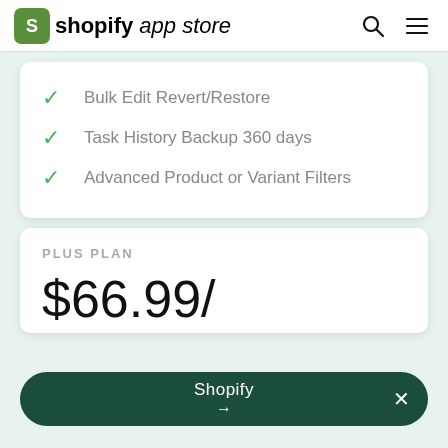shopify app store
Bulk Edit Revert/Restore
Task History Backup 360 days
Advanced Product or Variant Filters
PLUS PLAN
$66.99/
Shopify →